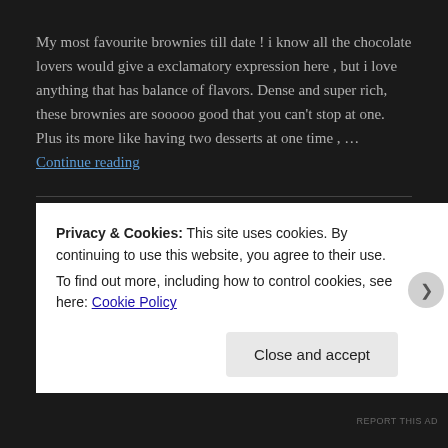My most favourite brownies till date ! i know all the chocolate lovers would give a exclamatory expression here , but i love anything that has balance of flavors. Dense and super rich, these brownies are sooooo good that you can't stop at one. Plus its more like having two desserts at one time , … Continue reading
March 24, 2018
One Bowl Chocolate Chip Banana Bread
Privacy & Cookies: This site uses cookies. By continuing to use this website, you agree to their use. To find out more, including how to control cookies, see here: Cookie Policy